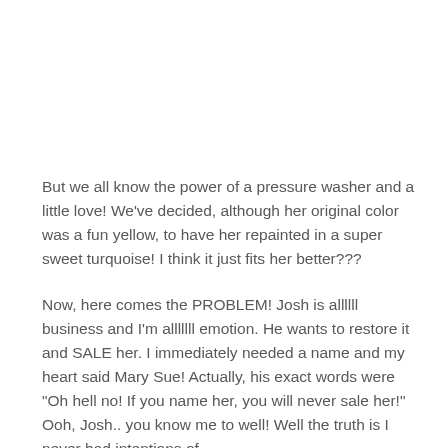But we all know the power of a pressure washer and a little love! We've decided, although her original color was a fun yellow, to have her repainted in a super sweet turquoise! I think it just fits her better???
Now, here comes the PROBLEM! Josh is allllll business and I'm alllllll emotion. He wants to restore it and SALE her. I immediately needed a name and my heart said Mary Sue! Actually, his exact words were "Oh hell no! If you name her, you will never sale her!" Ooh, Josh.. you know me to well! Well the truth is I never had intentions of